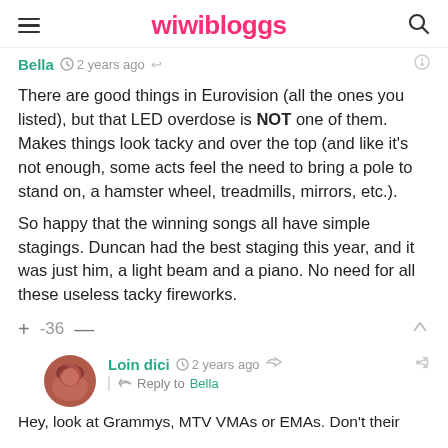wiwibloggs
Bella  2 years ago
There are good things in Eurovision (all the ones you listed), but that LED overdose is NOT one of them. Makes things look tacky and over the top (and like it's not enough, some acts feel the need to bring a pole to stand on, a hamster wheel, treadmills, mirrors, etc.).
So happy that the winning songs all have simple stagings. Duncan had the best staging this year, and it was just him, a light beam and a piano. No need for all these useless tacky fireworks.
+ -36 —
Loin dici  2 years ago
Reply to Bella
Hey, look at Grammys, MTV VMAs or EMAs. Don't their